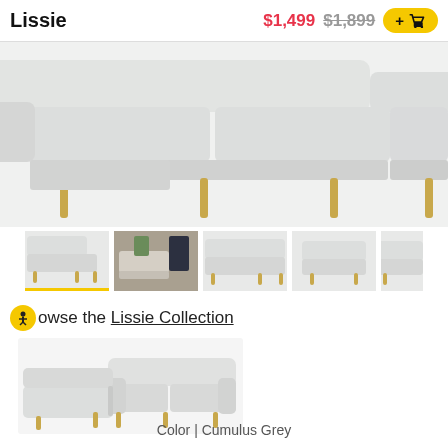Lissie
$1,499 $1,899 +cart
[Figure (photo): Close-up of a light grey sectional sofa with gold/brass legs, viewed from slightly above, showing the L-shaped configuration against a white background.]
[Figure (photo): Thumbnail strip showing 5 product images of the Lissie sectional sofa: left-facing chaise sectional (active/selected with yellow underline), room lifestyle shot, right-facing chaise sectional, right-side armchair view, and partial view of another angle.]
Browse the Lissie Collection
[Figure (photo): Product photo of the Lissie sectional sofa in Cumulus Grey with gold legs, left-facing chaise configuration, on white background.]
Color | Cumulus Grey